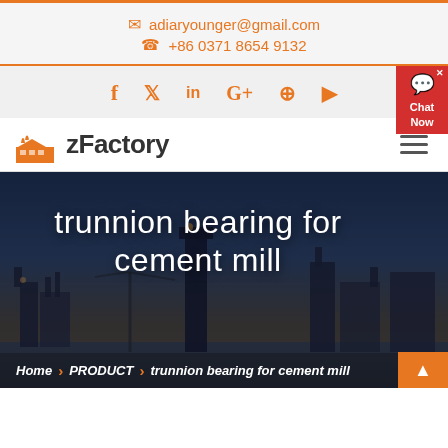adiaryounger@gmail.com  +86 0371 8654 9132
[Figure (screenshot): Social media icons: Facebook, Twitter, LinkedIn, Google+, Pinterest, YouTube]
[Figure (logo): zFactory logo with factory building icon]
trunnion bearing for cement mill
Home > PRODUCT > trunnion bearing for cement mill